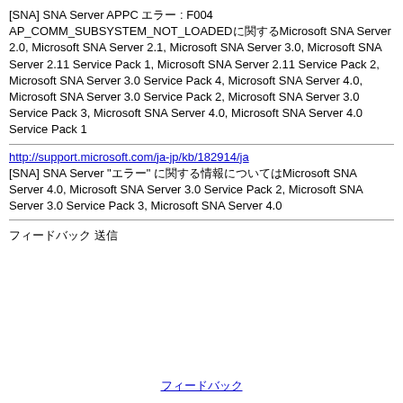[SNA] SNA Server APPC エラー : F004 AP_COMM_SUBSYSTEM_NOT_LOADEDに関するMicrosoft SNA Server 2.0, Microsoft SNA Server 2.1, Microsoft SNA Server 3.0, Microsoft SNA Server 2.11 Service Pack 1, Microsoft SNA Server 2.11 Service Pack 2, Microsoft SNA Server 3.0 Service Pack 4, Microsoft SNA Server 4.0, Microsoft SNA Server 3.0 Service Pack 2, Microsoft SNA Server 3.0 Service Pack 3, Microsoft SNA Server 4.0, Microsoft SNA Server 4.0 Service Pack 1
http://support.microsoft.com/ja-jp/kb/182914/ja
[SNA] SNA Server "エラー" に関する情報についてはMicrosoft SNA Server 4.0, Microsoft SNA Server 3.0 Service Pack 2, Microsoft SNA Server 3.0 Service Pack 3, Microsoft SNA Server 4.0
フィードバック 送信
フィードバック